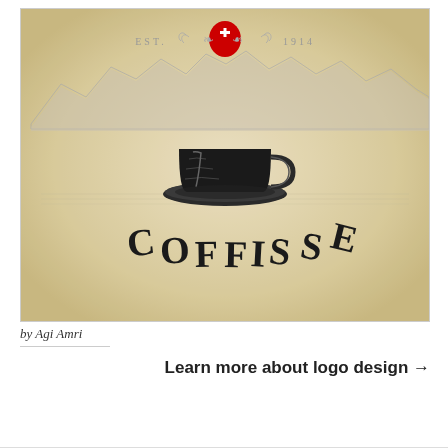[Figure (logo): Coffisse coffee brand logo on textured beige/cream background. Features 'EST. 1914' text with Swiss cross badge at top, illustrated mountain range, hand-drawn coffee cup on saucer in center, and 'COFFISSE' text in arched vintage typography at bottom.]
by Agi Amri
Learn more about logo design →